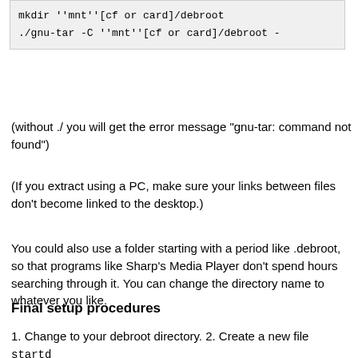mkdir ''mnt''[cf or card]/debroot
./gnu-tar -C ''mnt''[cf or card]/debroot -
(without ./ you will get the error message "gnu-tar: command not found")
(If you extract using a PC, make sure your links between files don't become linked to the desktop.)
You could also use a folder starting with a period like .debroot, so that programs like Sharp's Media Player don't spend hours searching through it. You can change the directory name to whatever you like.
Final setup procedures
1. Change to your debroot directory. 2. Create a new file startd